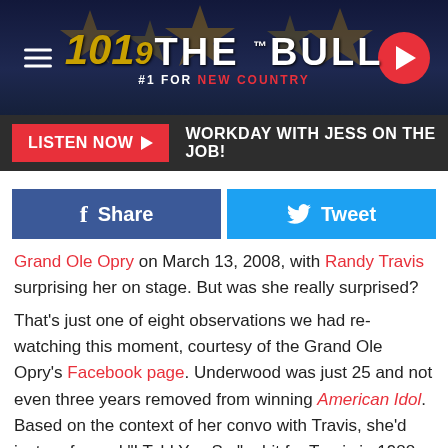101.9 THE BULL #1 FOR NEW COUNTRY
LISTEN NOW ▶   WORKDAY WITH JESS ON THE JOB!
[Figure (other): Facebook Share button and Twitter Tweet button row]
Grand Ole Opry on March 13, 2008, with Randy Travis surprising her on stage. But was she really surprised?
That's just one of eight observations we had re-watching this moment, courtesy of the Grand Ole Opry's Facebook page. Underwood was just 25 and not even three years removed from winning American Idol. Based on the context of her convo with Travis, she'd just performed "I Told You So," a hit for Travis in 1988 that they'd later release as a duet to country radio.
Sponsored